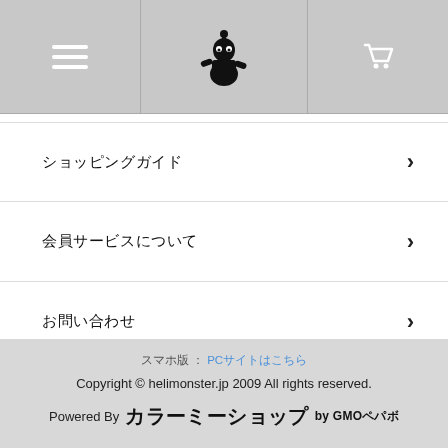Navigation header with hamburger menu, logo, and cart icon
ショッピングガイド ›
会員サービスについて ›
お問い合わせ ›
ヘリモンスターについて ›
スマホ版 : PCサイトはこちら
Copyright © helimonster.jp 2009 All rights reserved.
Powered By カラーミーショップ by GMOペパボ